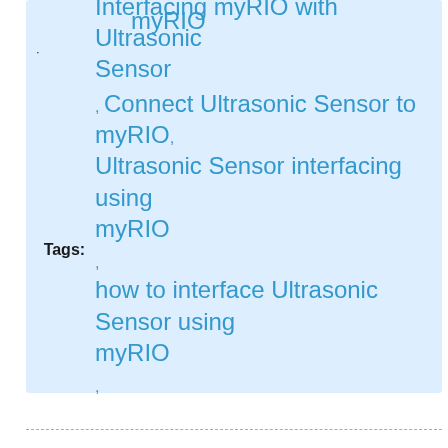Tags: myRIO , how to interface Ultrasonic Sensor with myRIO , Interfacing myRIO with Ultrasonic Sensor , Connect Ultrasonic Sensor to myRIO, Ultrasonic Sensor interfacing using myRIO , how to interface Ultrasonic Sensor using myRIO ,